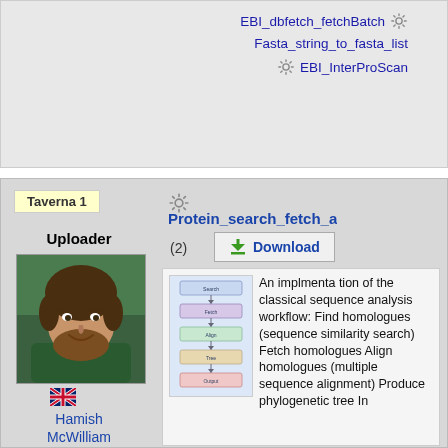EBI_dbfetch_fetchBatch
Fasta_string_to_fasta_list
EBI_InterProScan
Taverna 1
Uploader
[Figure (photo): Photo of Hamish McWilliam, a man with a beard wearing a green shirt]
Hamish McWilliam
Protein_search_fetch_a
(2)
Download
[Figure (flowchart): Workflow diagram showing vertical sequence analysis steps with connecting arrows]
An implmentation of the classical sequence analysis workflow: Find homologues (sequence similarity search) Fetch homologues Align homologues (multiple sequence alignment) Produce phylogenetic tree In